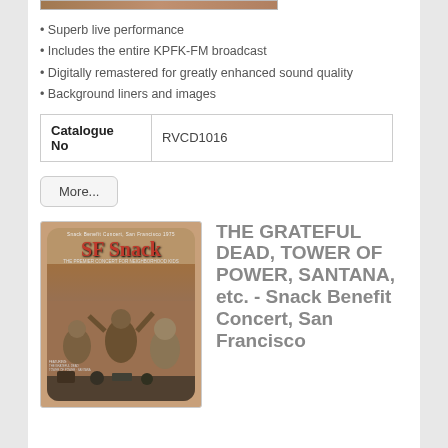[Figure (photo): Top portion of an album cover photo, cropped, showing partial view]
Superb live performance
Includes the entire KPFK-FM broadcast
Digitally remastered for greatly enhanced sound quality
Background liners and images
| Catalogue No |  |
| --- | --- |
| Catalogue No | RVCD1016 |
More...
[Figure (photo): Album cover for SF Snack Benefit Concert, San Francisco, featuring vintage sepia-toned image of performers]
THE GRATEFUL DEAD, TOWER OF POWER, SANTANA, etc. - Snack Benefit Concert, San Francisco